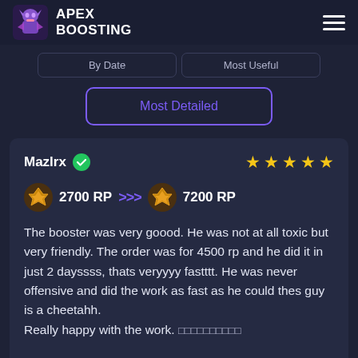APEX BOOSTING
By Date | Most Useful
Most Detailed
Mazlrx ✓  ★★★★★  2700 RP >>> 7200 RP
The booster was very goood. He was not at all toxic but very friendly. The order was for 4500 rp and he did it in just 2 dayssss, thats veryyyy fastttt. He was never offensive and did the work as fast as he could thes guy is a cheetahh. Really happy with the work.